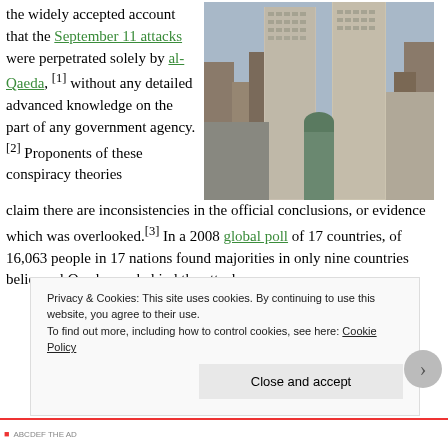the widely accepted account that the September 11 attacks were perpetrated solely by al-Qaeda, [1] without any detailed advanced knowledge on the part of any government agency.[2] Proponents of these conspiracy theories claim there are inconsistencies in the official conclusions, or evidence which was overlooked.[3] In a 2008 global poll of 17 countries, of 16,063 people in 17 nations found majorities in only nine countries believe al Qaeda was behind the attacks
[Figure (photo): Aerial/ground-level photo of the Twin Towers (World Trade Center) in New York City, showing the two tall towers with surrounding skyscrapers.]
Privacy & Cookies: This site uses cookies. By continuing to use this website, you agree to their use. To find out more, including how to control cookies, see here: Cookie Policy
Close and accept